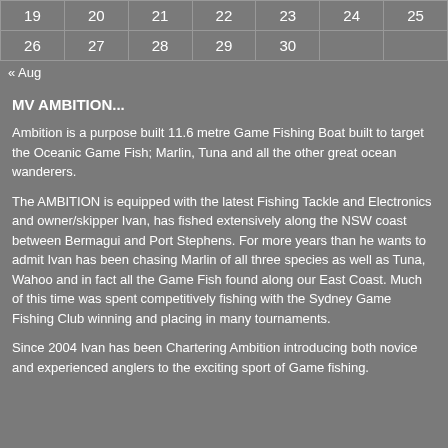| 19 | 20 | 21 | 22 | 23 | 24 | 25 |
| 26 | 27 | 28 | 29 | 30 |  |  |
« Aug
MV AMBITION...
Ambition is a purpose built 11.6 metre Game Fishing Boat built to target the Oceanic Game Fish; Marlin, Tuna and all the other great ocean wanderers.
The AMBITION is equipped with the latest Fishing Tackle and Electronics and owner/skipper Ivan, has fished extensively along the NSW coast between Bermagui and Port Stephens. For more years than he wants to admit Ivan has been chasing Marlin of all three species as well as Tuna, Wahoo and in fact all the Game Fish found along our East Coast. Much of this time was spent competitively fishing with the Sydney Game Fishing Club winning and placing in many tournaments.
Since 2004 Ivan has been Chartering Ambition introducing both novice and experienced anglers to the exciting sport of Game fishing.